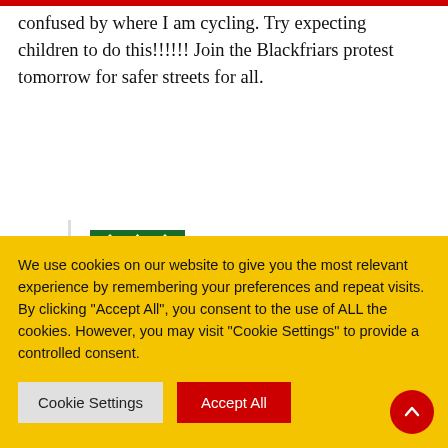confused by where I am cycling. Try expecting children to do this!!!!!! Join the Blackfriars protest tomorrow for safer streets for all.
architecturerosemont
11 October 2011 at 16:45
Juat goes to prove that one man's exemplar is another's nightmare. In point of fact the council and the regional council have wasted
We use cookies on our website to give you the most relevant experience by remembering your preferences and repeat visits. By clicking "Accept All", you consent to the use of ALL the cookies. However, you may visit "Cookie Settings" to provide a controlled consent.